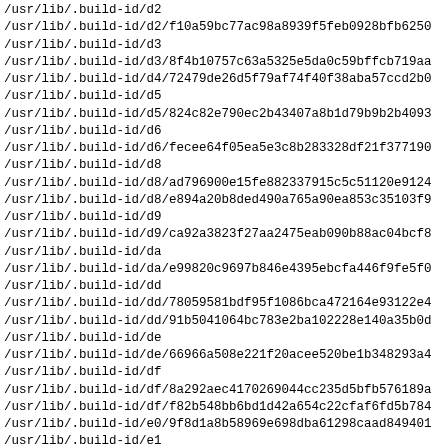/usr/lib/.build-id/d2
/usr/lib/.build-id/d2/f10a59bc77ac98a8939f5feb0928bfb6250
/usr/lib/.build-id/d3
/usr/lib/.build-id/d3/8f4b10757c63a5325e5da0c59bffcb719aa
/usr/lib/.build-id/d4/72479de26d5f79af74f40f38aba57ccd2b0
/usr/lib/.build-id/d5
/usr/lib/.build-id/d5/824c82e790ec2b43407a8b1d79b9b2b4093
/usr/lib/.build-id/d6
/usr/lib/.build-id/d6/fecee64f05ea5e3c8b283328df21f377190
/usr/lib/.build-id/d8
/usr/lib/.build-id/d8/ad796900e15fe882337915c5c51120e9124
/usr/lib/.build-id/d8/e894a20b8ded490a765a90ea853c35103f9
/usr/lib/.build-id/d9
/usr/lib/.build-id/d9/ca92a3823f27aa2475eab090b88ac04bcf8
/usr/lib/.build-id/da
/usr/lib/.build-id/da/e99820c9697b846e4395ebcfa446f9fe5f0
/usr/lib/.build-id/dd
/usr/lib/.build-id/dd/78059581bdf95f1086bca472164e93122e4
/usr/lib/.build-id/dd/91b5041064bc783e2ba102228e140a35b0d
/usr/lib/.build-id/de
/usr/lib/.build-id/de/66966a508e221f20acee520be1b348293a4
/usr/lib/.build-id/df
/usr/lib/.build-id/df/8a292aec4170269044cc235d5bfb576189a
/usr/lib/.build-id/df/f82b548bb6bd1d42a654c22cfaf6fd5b784
/usr/lib/.build-id/e0/9f8d1a8b58969e698dba61298caad849401
/usr/lib/.build-id/e1
/usr/lib/.build-id/e1/e729f1ff3a88d9a3bc6cc43357ee736d6b0
/usr/lib/.build-id/e2
/usr/lib/.build-id/e2/39d4145b895b3e2a85a7f6901a313e55e97
/usr/lib/.build-id/e2/b85b48697c81d08ddb32a756af61e851c00
/usr/lib/.build-id/e4